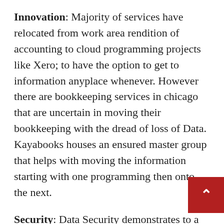Innovation: Majority of services have relocated from work area rendition of accounting to cloud programming projects like Xero; to have the option to get to information anyplace whenever. However there are bookkeeping services in chicago that are uncertain in moving their bookkeeping with the dread of loss of Data. Kayabooks houses an ensured master group that helps with moving the information starting with one programming then onto the next.
Security: Data Security demonstrates to a significant danger to entrepreneurs. Nobody thinks that they are protected on their...